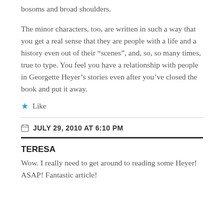bosoms and broad shoulders.
The minor characters, too, are written in such a way that you get a real sense that they are people with a life and a history even out of their “scenes”, and, so, so many times, true to type. You feel you have a relationship with people in Georgette Heyer’s stories even after you’ve closed the book and put it away.
Like
JULY 29, 2010 AT 6:10 PM
TERESA
Wow. I really need to get around to reading some Heyer! ASAP! Fantastic article!